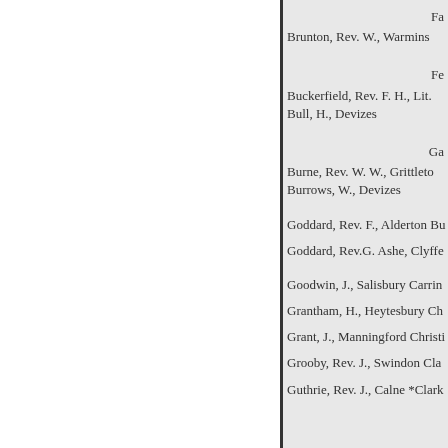Fa
Brunton, Rev. W., Warmins
Fe
Buckerfield, Rev. F. H., Lit.
Bull, H., Devizes
Ga
Burne, Rev. W. W., Grittleto
Burrows, W., Devizes
Goddard, Rev. F., Alderton Bu
Goddard, Rev.G. Ashe, Clyffe
Goodwin, J., Salisbury Carrin
Grantham, H., Heytesbury Ch
Grant, J., Manningford Christi
Grooby, Rev. J., Swindon Cla
Guthrie, Rev. J., Calne *Clark